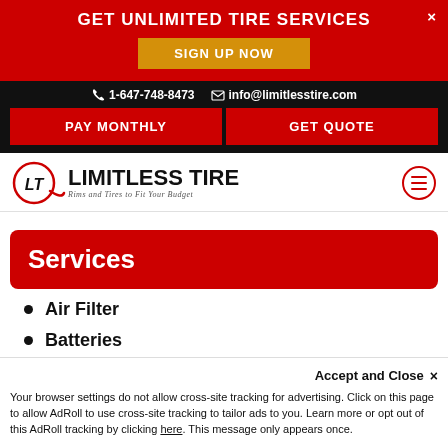GET UNLIMITED TIRE SERVICES
SIGN UP NOW
1-647-748-8473  info@limitlesstire.com
PAY MONTHLY
GET QUOTE
[Figure (logo): Limitless Tire logo with LT circle emblem, red and black colors, tagline: Rims and Tires to Fit Your Budget]
Services
Air Filter
Batteries
Belts & Hoses
Check Engine Light
Accept and Close ×
Your browser settings do not allow cross-site tracking for advertising. Click on this page to allow AdRoll to use cross-site tracking to tailor ads to you. Learn more or opt out of this AdRoll tracking by clicking here. This message only appears once.